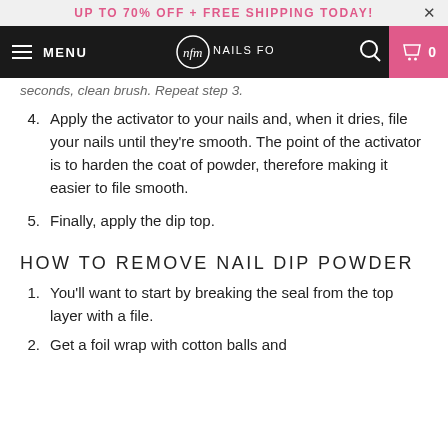UP TO 70% OFF + FREE SHIPPING TODAY!
[Figure (screenshot): Nails For Me website navigation bar with hamburger menu, logo, search icon, and cart icon (0 items) on dark background]
seconds, clean brush. Repeat step 3.
4. Apply the activator to your nails and, when it dries, file your nails until they're smooth. The point of the activator is to harden the coat of powder, therefore making it easier to file smooth.
5. Finally, apply the dip top.
HOW TO REMOVE NAIL DIP POWDER
1. You'll want to start by breaking the seal from the top layer with a file.
2. Get a foil wrap with cotton balls and